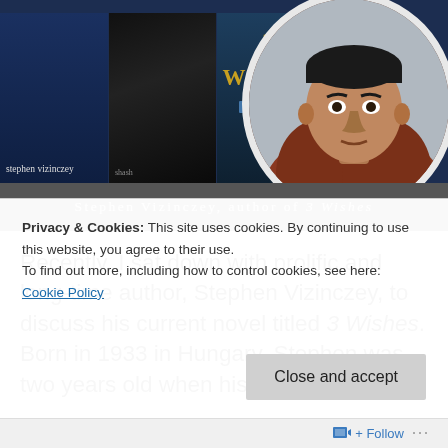[Figure (photo): Header showing three book covers (stephen vizinczey, a dark cover, and 3 Wishes by The Happy Few) alongside a circular portrait photo of Stephen Vizinczey wearing an orange jacket]
Stephen Vizinczey, author of 3 Wishes
Recently, I sat down with prolific and long-time author, Stephen Vizinczey, to discuss his current novel titled 3 Wishes. Born in 1933 in Hungary, Stephen was two years old when his father was
Privacy & Cookies: This site uses cookies. By continuing to use this website, you agree to their use.
To find out more, including how to control cookies, see here: Cookie Policy
Close and accept